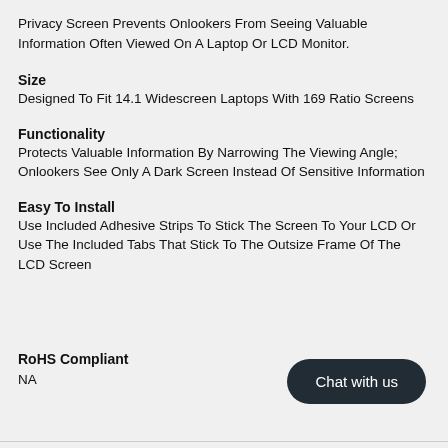Privacy Screen Prevents Onlookers From Seeing Valuable Information Often Viewed On A Laptop Or LCD Monitor.
Size
Designed To Fit 14.1 Widescreen Laptops With 169 Ratio Screens
Functionality
Protects Valuable Information By Narrowing The Viewing Angle; Onlookers See Only A Dark Screen Instead Of Sensitive Information
Easy To Install
Use Included Adhesive Strips To Stick The Screen To Your LCD Or Use The Included Tabs That Stick To The Outsize Frame Of The LCD Screen
RoHS Compliant
NA
[Figure (other): Chat with us button — dark rounded rectangle with white text]